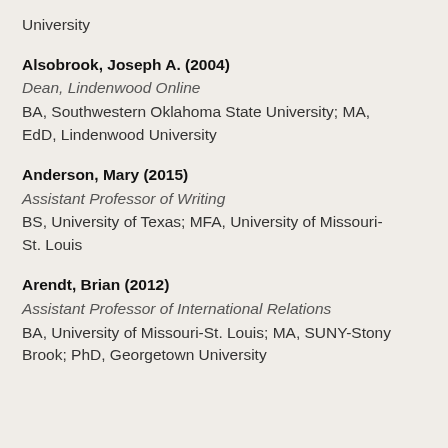University
Alsobrook, Joseph A. (2004)
Dean, Lindenwood Online
BA, Southwestern Oklahoma State University; MA, EdD, Lindenwood University
Anderson, Mary (2015)
Assistant Professor of Writing
BS, University of Texas; MFA, University of Missouri-St. Louis
Arendt, Brian (2012)
Assistant Professor of International Relations
BA, University of Missouri-St. Louis; MA, SUNY-Stony Brook; PhD, Georgetown University